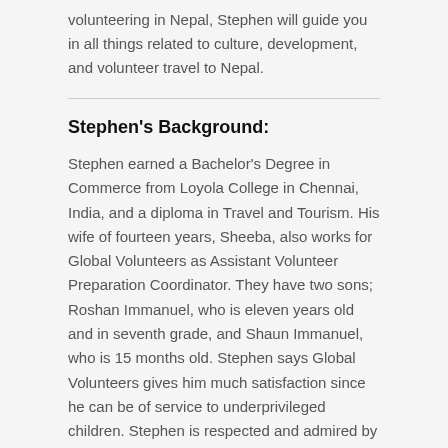volunteering in Nepal, Stephen will guide you in all things related to culture, development, and volunteer travel to Nepal.
Stephen's Background:
Stephen earned a Bachelor's Degree in Commerce from Loyola College in Chennai, India, and a diploma in Travel and Tourism. His wife of fourteen years, Sheeba, also works for Global Volunteers as Assistant Volunteer Preparation Coordinator. They have two sons; Roshan Immanuel, who is eleven years old and in seventh grade, and Shaun Immanuel, who is 15 months old. Stephen says Global Volunteers gives him much satisfaction since he can be of service to underprivileged children. Stephen is respected and admired by our community partners in Kathmandu and is truly committed to the development of the